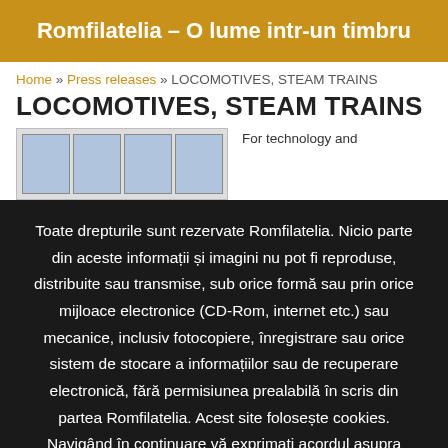Romfilatelia – O lume intr-un timbru
Home » Press releases » LOCOMOTIVES, STEAM TRAINS
LOCOMOTIVES, STEAM TRAINS
[Figure (photo): Stamps showing locomotives and steam trains]
For technology and
Toate drepturile sunt rezervate Romfilatelia. Nicio parte din aceste informații și imagini nu pot fi reproduse, distribuite sau transmise, sub orice formă sau prin orice mijloace electronice (CD-Rom, internet etc.) sau mecanice, inclusiv fotocopiere, înregistrare sau orice sistem de stocare a informațiilor sau de recuperare electronică, fără permisiunea prealabilă în scris din partea Romfilatelia. Acest site folosește cookies. Navigând în continuare vă exprimați acordul asupra folosirii cookie-urilor.
I agree Detalii